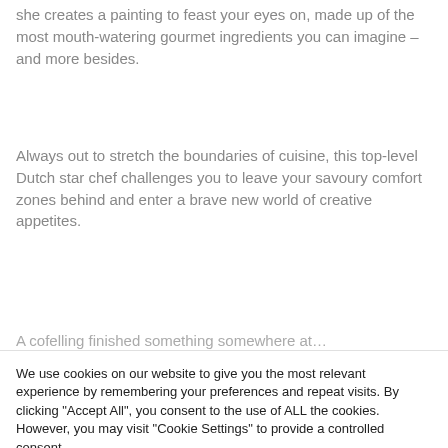she creates a painting to feast your eyes on, made up of the most mouth-watering gourmet ingredients you can imagine – and more besides.
Always out to stretch the boundaries of cuisine, this top-level Dutch star chef challenges you to leave your savoury comfort zones behind and enter a brave new world of creative appetites.
[partial line cut off at bottom]
We use cookies on our website to give you the most relevant experience by remembering your preferences and repeat visits. By clicking "Accept All", you consent to the use of ALL the cookies. However, you may visit "Cookie Settings" to provide a controlled consent.